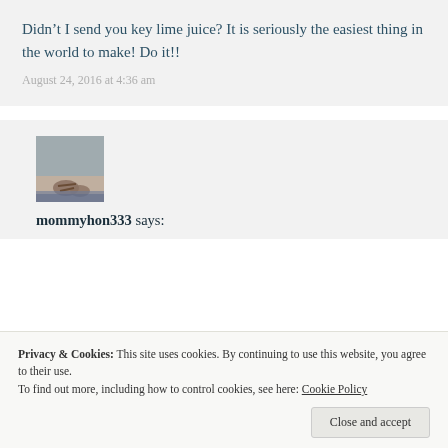Didn’t I send you key lime juice? It is seriously the easiest thing in the world to make! Do it!!
August 24, 2016 at 4:36 am
[Figure (photo): Avatar photo showing feet/sandals on a beach, used as user profile picture for mommyhon333]
mommyhon333 says:
Privacy & Cookies: This site uses cookies. By continuing to use this website, you agree to their use.
To find out more, including how to control cookies, see here: Cookie Policy
Close and accept
your share of sweetness one. I sure them. We are